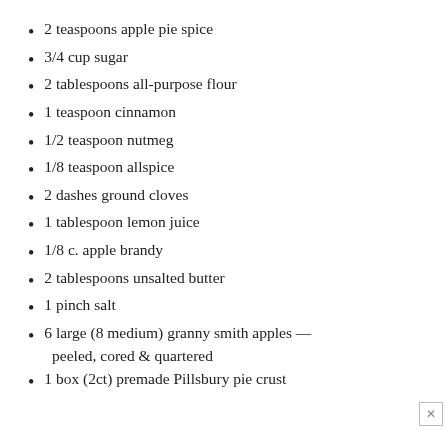2 teaspoons apple pie spice
3/4 cup sugar
2 tablespoons all-purpose flour
1 teaspoon cinnamon
1/2 teaspoon nutmeg
1/8 teaspoon allspice
2 dashes ground cloves
1 tablespoon lemon juice
1/8 c. apple brandy
2 tablespoons unsalted butter
1 pinch salt
6 large (8 medium) granny smith apples — peeled, cored & quartered
1 box (2ct) premade Pillsbury pie crust